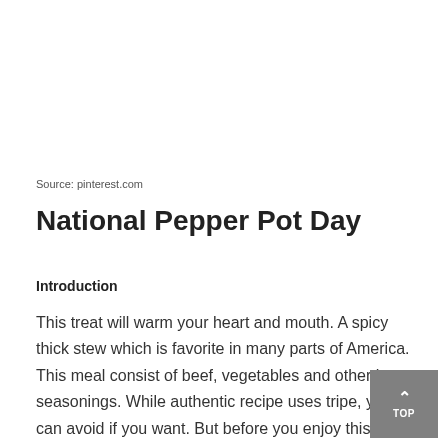Source: pinterest.com
National Pepper Pot Day
Introduction
This treat will warm your heart and mouth. A spicy thick stew which is favorite in many parts of America. This meal consist of beef, vegetables and other hot seasonings. While authentic recipe uses tripe, you can avoid if you want. But before you enjoy this treat, let's know more about it's history on December 29.